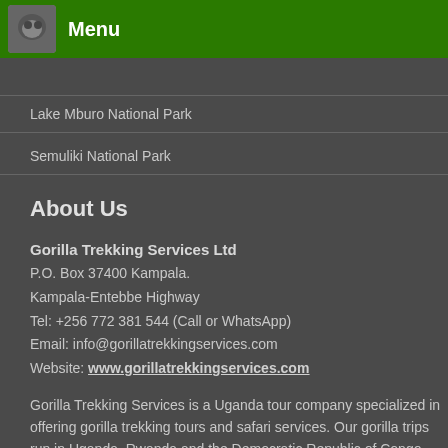Menu
Lake Mburo National Park
Semuliki National Park
About Us
Gorilla Trekking Services Ltd
P.O. Box 37400 Kampala.
Kampala-Entebbe Highway
Tel: +256 772 381 544 (Call or WhatsApp)
Email: info@gorillatrekkingservices.com
Website: www.gorillatrekkingservices.com
Gorilla Trekking Services is a Uganda tour company specialized in offering gorilla trekking tours and safari services. Our gorilla trips run in Uganda, Rwanda and the Democratic Republic of Congo. During our tours, we take you to Bwindi Impenetrable forest and Mgahinga Gorilla National Park in Uganda, Volcanoes National Park in Rwanda and the Virunga National Park in DR Congo.